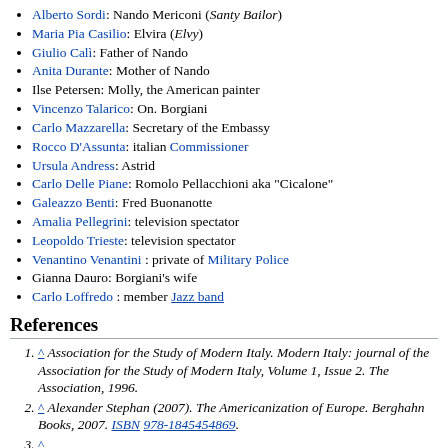Alberto Sordi: Nando Mericoni (Santy Bailor)
Maria Pia Casilio: Elvira (Elvy)
Giulio Calì: Father of Nando
Anita Durante: Mother of Nando
Ilse Petersen: Molly, the American painter
Vincenzo Talarico: On. Borgiani
Carlo Mazzarella: Secretary of the Embassy
Rocco D'Assunta: italian Commissioner
Ursula Andress: Astrid
Carlo Delle Piane: Romolo Pellacchioni aka "Cicalone"
Galeazzo Benti: Fred Buonanotte
Amalia Pellegrini: television spectator
Leopoldo Trieste: television spectator
Venantino Venantini : private of Military Police
Gianna Dauro: Borgiani's wife
Carlo Loffredo : member Jazz band
References
^ Association for the Study of Modern Italy. Modern Italy: journal of the Association for the Study of Modern Italy, Volume 1, Issue 2. The Association, 1996.
^ Alexander Stephan (2007). The Americanization of Europe. Berghahn Books, 2007. ISBN 978-1845454869.
^ ...